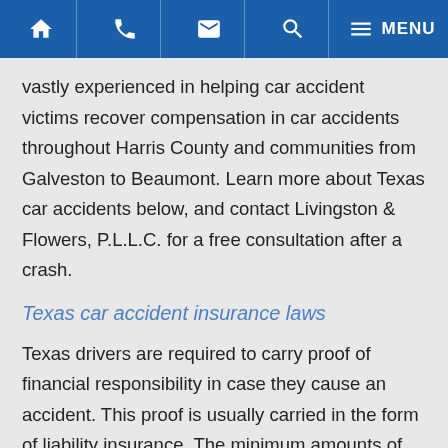HOME | PHONE | EMAIL | SEARCH | MENU
vastly experienced in helping car accident victims recover compensation in car accidents throughout Harris County and communities from Galveston to Beaumont. Learn more about Texas car accidents below, and contact Livingston & Flowers, P.L.L.C. for a free consultation after a crash.
Texas car accident insurance laws
Texas drivers are required to carry proof of financial responsibility in case they cause an accident. This proof is usually carried in the form of liability insurance. The minimum amounts of coverage required by Texas law are $30,000 to cover personal injuries to one person, $60,000